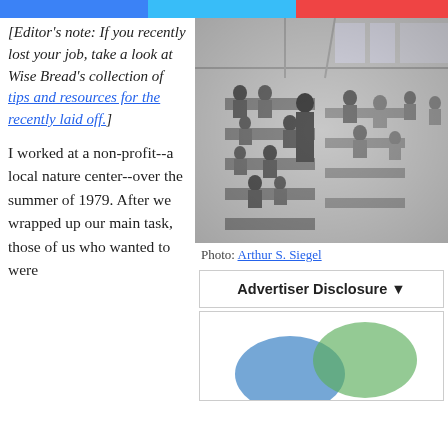[Figure (other): Three colored share/social buttons at top: blue, light blue, red]
[Editor's note: If you recently lost your job, take a look at Wise Bread's collection of tips and resources for the recently laid off.]
[Figure (photo): Black and white historical photo of a factory floor with many workers seated at workbenches]
Photo: Arthur S. Siegel
Advertiser Disclosure ▼
[Figure (other): Partially visible advertisement image with blue and green blurred shapes]
I worked at a non-profit--a local nature center--over the summer of 1979. After we wrapped up our main task, those of us who wanted to were